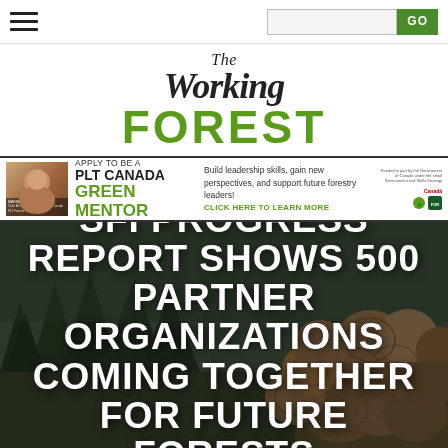Navigation bar with hamburger menu and search with GO button
[Figure (logo): The Working Forest logo — 'The' in italic serif, 'Working' in large italic serif bold, 'FOREST' in large green sans-serif uppercase]
[Figure (infographic): Banner advertisement: Apply to be a PLT CANADA GREEN MENTOR. Build leadership skills, gain new perspectives, and support future forestry leaders! CLICK HERE TO LEARN MORE. Funded in part by Government of Canada. Shows woman's photo on left and Canada/sustainable forest logos on right.]
SFI PROGRESS REPORT SHOWS 500 PARTNER ORGANIZATIONS COMING TOGETHER FOR FUTURE FORESTS